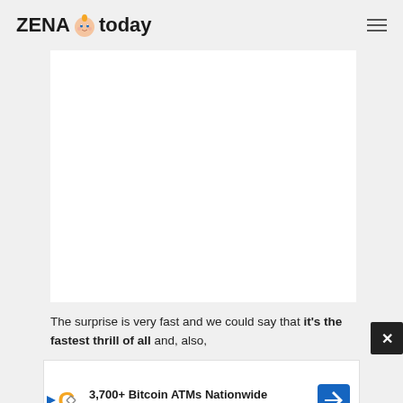ZENA today
[Figure (other): White rectangular content/image area placeholder on a light gray background]
The surprise is very fast and we could say that it's the fastest thrill of all and, also,
[Figure (other): Advertisement banner: 3,700+ Bitcoin ATMs Nationwide — CoinFlip Bitcoin ATM with logo and navigation arrow icon]